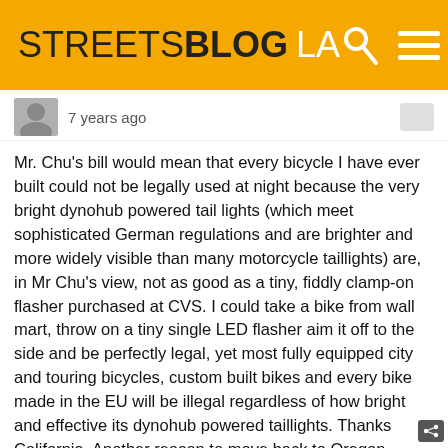STREETSBLOG LA
7 years ago
Mr. Chu's bill would mean that every bicycle I have ever built could not be legally used at night because the very bright dynohub powered tail lights (which meet sophisticated German regulations and are brighter and more widely visible than many motorcycle taillights) are, in Mr Chu's view, not as good as a tiny, fiddly clamp-on flasher purchased at CVS. I could take a bike from wall mart, throw on a tiny single LED flasher aim it off to the side and be perfectly legal, yet most fully equipped city and touring bicycles, custom built bikes and every bike made in the EU will be illegal regardless of how bright and effective its dynohub powered taillights. Thanks California. Another reason to move back to Oregon.
The US market for blinking lights is the wild west: No regulations, no consensus on optics or beam pattern, no regulations that would prevent the blinding of other cyclists, cheap mounts and cheap designs in constant need of re-adjustment etc. Most of the blinking lights I see are tiny and